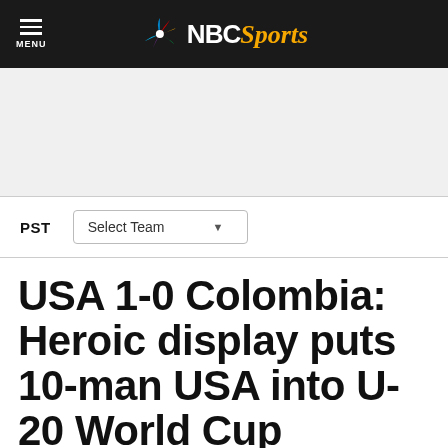MENU | NBC Sports
[Figure (other): Advertisement placeholder area (blank/gray)]
PST  Select Team
USA 1-0 Colombia: Heroic display puts 10-man USA into U-20 World Cup quarterfinals